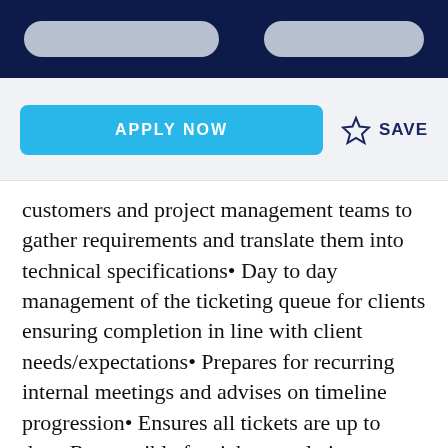APPLY NOW   ☆ SAVE
customers and project management teams to gather requirements and translate them into technical specifications• Day to day management of the ticketing queue for clients ensuring completion in line with client needs/expectations• Prepares for recurring internal meetings and advises on timeline progression• Ensures all tickets are up to date. Responsible for ticket escalation as needed.• Builds out weekly client slides. Provides snapshot of projects and status.• Responsible for various